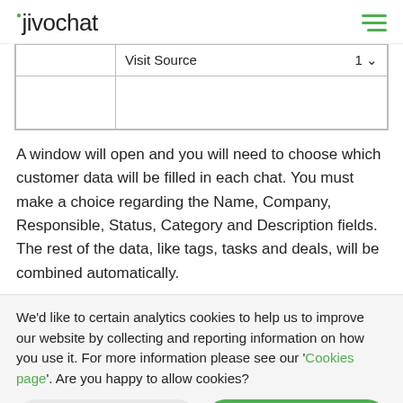jivochat
|  | Visit Source    1 |
|  |   |
A window will open and you will need to choose which customer data will be filled in each chat. You must make a choice regarding the Name, Company, Responsible, Status, Category and Description fields. The rest of the data, like tags, tasks and deals, will be combined automatically.
We'd like to certain analytics cookies to help us to improve our website by collecting and reporting information on how you use it. For more information please see our 'Cookies page'. Are you happy to allow cookies?
I refuse cookies
I accept cookies